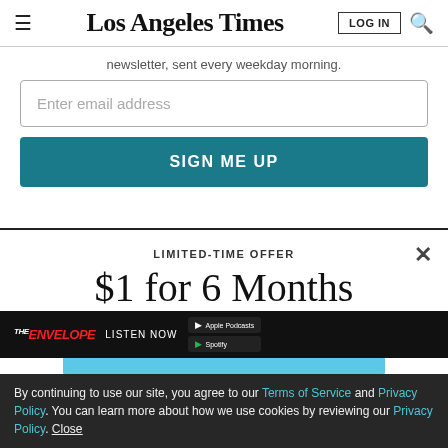Los Angeles Times
newsletter, sent every weekday morning.
Enter email address
SIGN ME UP
LIMITED-TIME OFFER
$1 for 6 Months
SUBSCRIBE NOW
By continuing to use our site, you agree to our Terms of Service and Privacy Policy. You can learn more about how we use cookies by reviewing our Privacy Policy. Close